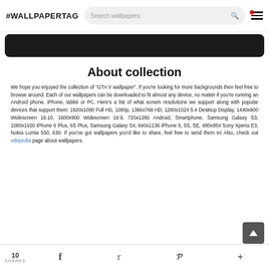#WALLPAPERTAG  Search wallpapers
[Figure (other): Dark rounded rectangle banner image area]
About collection
We hope you enjoyed the collection of "GTA V wallpaper". If you're looking for more backgrounds then feel free to browse around. Each of our wallpapers can be downloaded to fit almost any device, no matter if you're running an Android phone, iPhone, tablet or PC. Here's a list of what screen resolutions we support along with popular devices that support them: 1920x1080 Full HD, 1080p, 1366x768 HD, 1280x1024 5:4 Desktop Display, 1440x900 Widescreen 16:10, 1600x900 Widescreen 16:9, 720x1280 Android, Smartphone, Samsung Galaxy S3, 1080x1920 iPhone 6 Plus, 6S Plus, Samsung Galaxy S4, 640x1136 iPhone 5, 5S, SE, 480x854 Sony Xperia E3, Nokia Lumia 530, 630. If you've got wallpapers you'd like to share, feel free to send them in! Also, check out wikipedia page about wallpapers.
10 SHARES  Facebook  Twitter  Pinterest  More